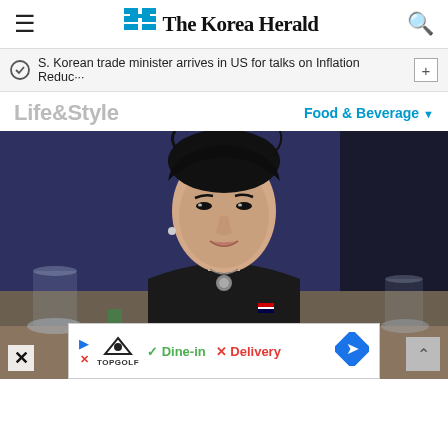The Korea Herald
S. Korean trade minister arrives in US for talks on Inflation Reduc···
Life&Style
Food & Beverage
[Figure (photo): Woman in a black blazer with a Korean flag pin and a decorative necklace, smiling and clapping at a formal event. She has dark hair pulled back. The background shows a blue curtain and event setting with glassware visible in the foreground.]
▶ TopGolf  ✓ Dine-in  ✗ Delivery